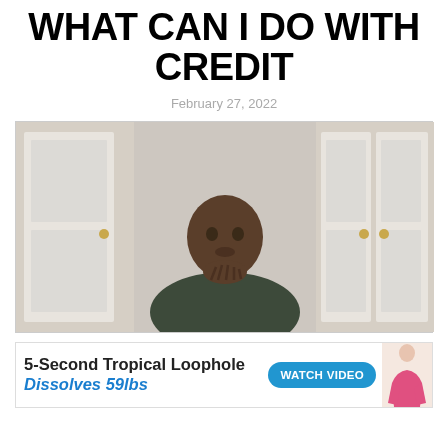WHAT CAN I DO WITH CREDIT
February 27, 2022
[Figure (photo): Man sitting in front of white closet doors, hands pressed together near his chin, wearing a dark shirt, indoor setting]
[Figure (infographic): Advertisement banner: '5-Second Tropical Loophole Dissolves 59lbs' with 'WATCH VIDEO' button and cartoon figure illustration]